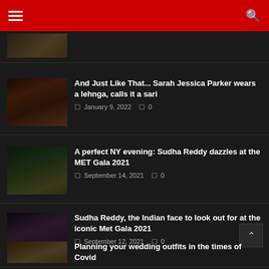Navigation header with hamburger menu and search icon
[Figure (photo): Partially visible article thumbnail at top]
And Just Like That... Sarah Jessica Parker wears a lehnga, calls it a sari
January 9, 2022  0
A perfect NY evening: Sudha Reddy dazzles at the MET Gala 2021
September 14, 2021  0
Sudha Reddy, the Indian face to look out for at the iconic Met Gala 2021
September 12, 2021  0
Planning your wedding outfits in the times of Covid